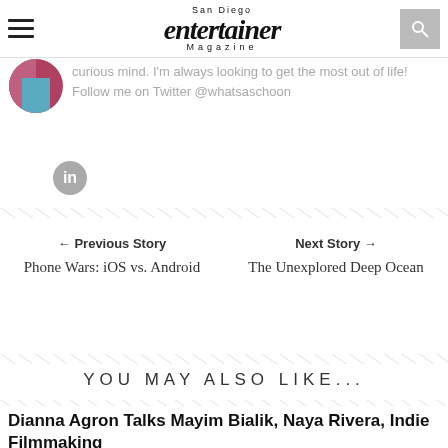San Diego Entertainer Magazine
curious mind. I'm always looking to get the most out of life! Follow me on Twitter @whatsaschoon
[Figure (logo): LinkedIn circular icon]
← Previous Story
Phone Wars: iOS vs. Android
Next Story →
The Unexplored Deep Ocean
YOU MAY ALSO LIKE...
Dianna Agron Talks Mayim Bialik, Naya Rivera, Indie Filmmaking